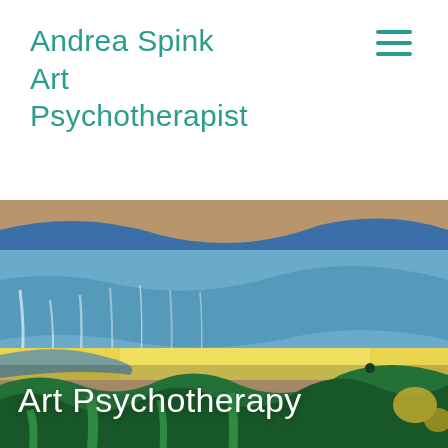Andrea Spink Art Psychotherapist
[Figure (illustration): Hamburger menu icon with three horizontal teal lines]
[Figure (photo): Close-up of a colourful abstract painting with blue, yellow, and green brushstrokes overlaid with the text 'Art Psychotherapy' in white]
Art Psychotherapy